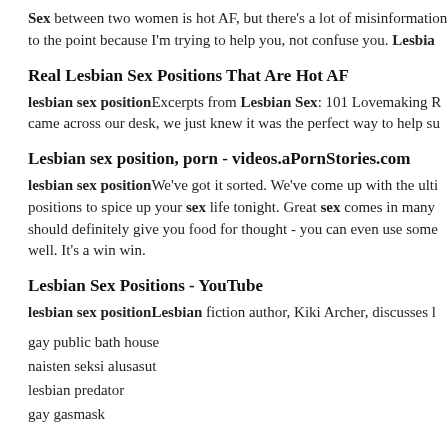Sex between two women is hot AF, but there's a lot of misinformation to the point because I'm trying to help you, not confuse you. Lesbian
Real Lesbian Sex Positions That Are Hot AF
lesbian sex positionExcerpts from Lesbian Sex: 101 Lovemaking R came across our desk, we just knew it was the perfect way to help su
Lesbian sex position, porn - videos.aPornStories.com
lesbian sex positionWe've got it sorted. We've come up with the ulti positions to spice up your sex life tonight. Great sex comes in many should definitely give you food for thought - you can even use some well. It's a win win.
Lesbian Sex Positions - YouTube
lesbian sex positionLesbian fiction author, Kiki Archer, discusses l
gay public bath house
naisten seksi alusasut
lesbian predator
gay gasmask